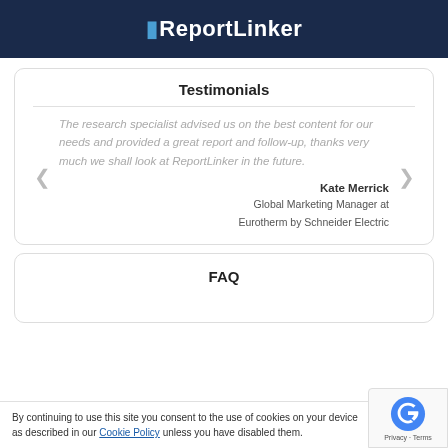ReportLinker
Testimonials
The research specialist advised us on the best content for our needs and provided a great report and follow-up, thanks very much we shall look at ReportLinker in the future.
Kate Merrick
Global Marketing Manager at Eurotherm by Schneider Electric
FAQ
By continuing to use this site you consent to the use of cookies on your device as described in our Cookie Policy unless you have disabled them.